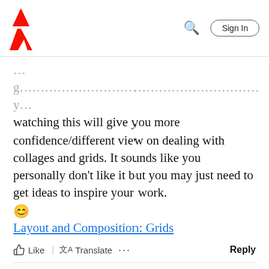Adobe | Sign In
watching this will give you more confidence/different view on dealing with collages and grids. It sounds like you personally don't like it but you may just need to get ideas to inspire your work.
😊
Layout and Composition: Grids
Like  Translate  ...  Reply
DigitalChickster  AUTHOR
Enthusiast
Apr 10, 2019
Oh, I do like collages. I just think five or six